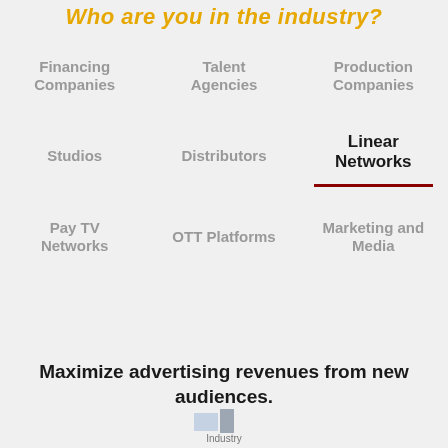Who are you in the industry?
Financing Companies
Talent Agencies
Production Companies
Studios
Distributors
Linear Networks
Pay TV Networks
OTT Platforms
Marketing and Media
Maximize advertising revenues from new audiences.
[Figure (logo): Industry logo/icon at bottom center]